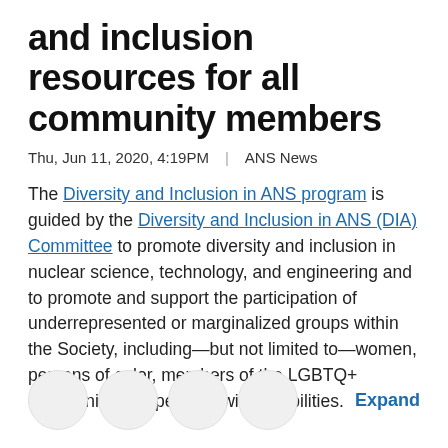and inclusion resources for all community members
Thu, Jun 11, 2020, 4:19PM  |  ANS News
The Diversity and Inclusion in ANS program is guided by the Diversity and Inclusion in ANS (DIA) Committee to promote diversity and inclusion in nuclear science, technology, and engineering and to promote and support the participation of underrepresented or marginalized groups within the Society, including—but not limited to—women, persons of color, members of the LGBTQ+ community, and persons with disabilities.
Expand